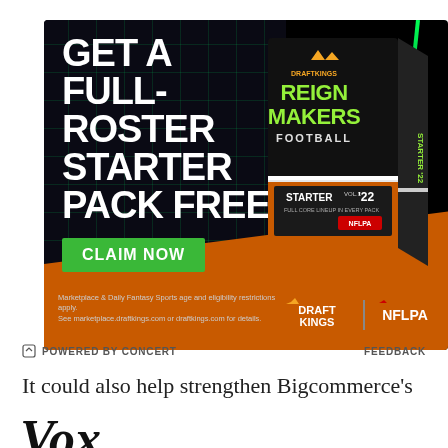[Figure (infographic): DraftKings Reign Makers Football advertisement. Dark background with green grid, orange diagonal stripe. Large bold white text: GET A FULL-ROSTER STARTER PACK FREE. Green CLAIM NOW button. Product box showing 'DraftKings Reign Makers Football Starter Vol.1 22' with NFLPA logo. DraftKings and NFLPA logos at bottom right. Fine print about marketplace and daily fantasy sports restrictions.]
POWERED BY CONCERT    FEEDBACK
It could also help strengthen Bigcommerce's relationship with Alibaba. Commerce on the
[Figure (logo): Vox media logo in large bold black italic serif font]